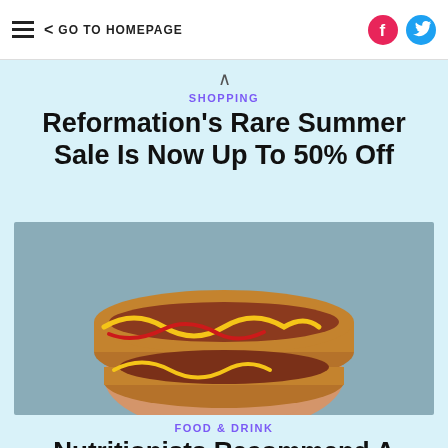≡  < GO TO HOMEPAGE
SHOPPING
Reformation's Rare Summer Sale Is Now Up To 50% Off
[Figure (photo): A hand holding two hot dogs with mustard and ketchup against a teal/grey background]
FOOD & DRINK
Nutritionists Recommend A